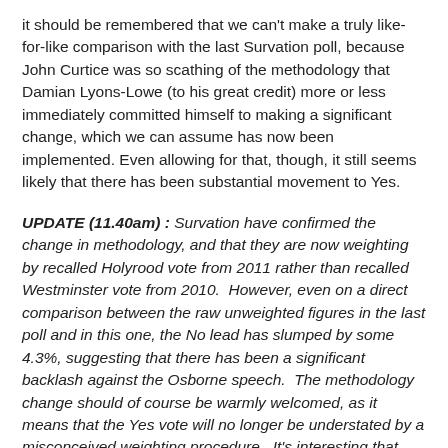it should be remembered that we can't make a truly like-for-like comparison with the last Survation poll, because John Curtice was so scathing of the methodology that Damian Lyons-Lowe (to his great credit) more or less immediately committed himself to making a significant change, which we can assume has now been implemented. Even allowing for that, though, it still seems likely that there has been substantial movement to Yes.
UPDATE (11.40am) : Survation have confirmed the change in methodology, and that they are now weighting by recalled Holyrood vote from 2011 rather than recalled Westminster vote from 2010. However, even on a direct comparison between the raw unweighted figures in the last poll and in this one, the No lead has slumped by some 4.3%, suggesting that there has been a significant backlash against the Osborne speech. The methodology change should of course be warmly welcomed, as it means that the Yes vote will no longer be understated by a misconceived weighting procedure. It's interesting that Survation make the point that YouGov have still not come wholly into line with this best practice.